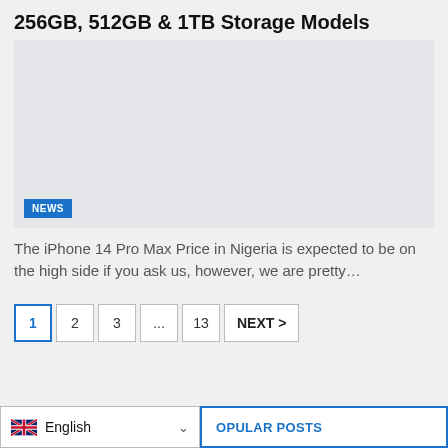256GB, 512GB & 1TB Storage Models
[Figure (photo): Placeholder image area with light gray background and a blue NEWS badge in the lower left corner]
The iPhone 14 Pro Max Price in Nigeria is expected to be on the high side if you ask us, however, we are pretty…
Pagination: 1 (active), 2, 3, ..., 13, NEXT >
English (language selector with UK flag and chevron), POPULAR POSTS